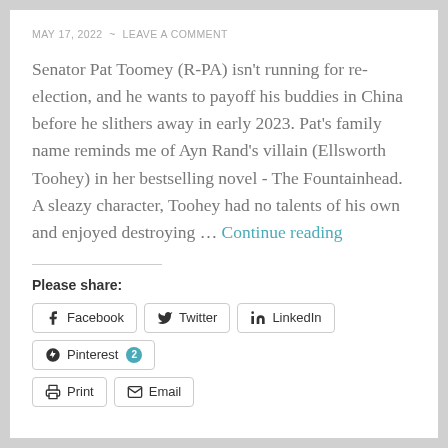MAY 17, 2022  ~  LEAVE A COMMENT
Senator Pat Toomey (R-PA) isn't running for re-election, and he wants to payoff his buddies in China before he slithers away in early 2023. Pat's family name reminds me of Ayn Rand's villain (Ellsworth Toohey) in her bestselling novel - The Fountainhead. A sleazy character, Toohey had no talents of his own and enjoyed destroying … Continue reading
Please share:
Facebook
Twitter
LinkedIn
Pinterest 2
Print
Email